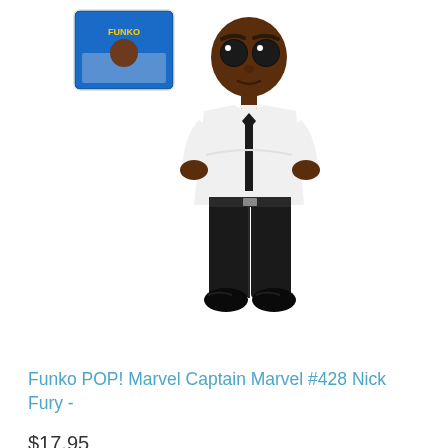[Figure (photo): Funko POP! Nick Fury vinyl figure standing with arms crossed, wearing white shirt and dark pants, with a Captain Marvel themed box visible in top-left corner]
Funko POP! Marvel Captain Marvel #428 Nick Fury -
$17.95
Add to Cart
[Figure (photo): Funko POP! figure with skull-like face and white hair in a pink/red box, partially visible at bottom of page]